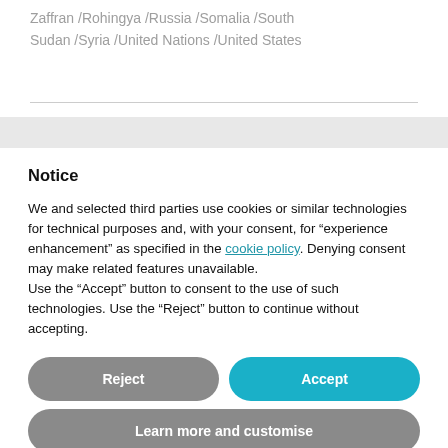Zaffran /Rohingya /Russia /Somalia /South Sudan /Syria /United Nations /United States
Notice
We and selected third parties use cookies or similar technologies for technical purposes and, with your consent, for “experience enhancement” as specified in the cookie policy. Denying consent may make related features unavailable.
Use the “Accept” button to consent to the use of such technologies. Use the “Reject” button to continue without accepting.
Reject
Accept
Learn more and customise